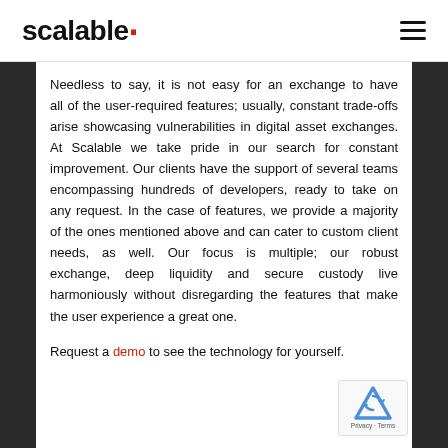scalable.
Needless to say, it is not easy for an exchange to have all of the user-required features; usually, constant trade-offs arise showcasing vulnerabilities in digital asset exchanges. At Scalable we take pride in our search for constant improvement. Our clients have the support of several teams encompassing hundreds of developers, ready to take on any request. In the case of features, we provide a majority of the ones mentioned above and can cater to custom client needs, as well. Our focus is multiple; our robust exchange, deep liquidity and secure custody live harmoniously without disregarding the features that make the user experience a great one.
Request a demo to see the technology for yourself.